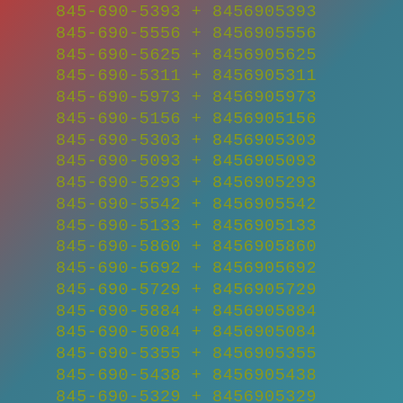845-690-5393 + 8456905393
845-690-5556 + 8456905556
845-690-5625 + 8456905625
845-690-5311 + 8456905311
845-690-5973 + 8456905973
845-690-5156 + 8456905156
845-690-5303 + 8456905303
845-690-5093 + 8456905093
845-690-5293 + 8456905293
845-690-5542 + 8456905542
845-690-5133 + 8456905133
845-690-5860 + 8456905860
845-690-5692 + 8456905692
845-690-5729 + 8456905729
845-690-5884 + 8456905884
845-690-5084 + 8456905084
845-690-5355 + 8456905355
845-690-5438 + 8456905438
845-690-5329 + 8456905329
845-690-5053 + 8456905053
845-690-5654 + 8456905654
845-690-5439 + 8456905439